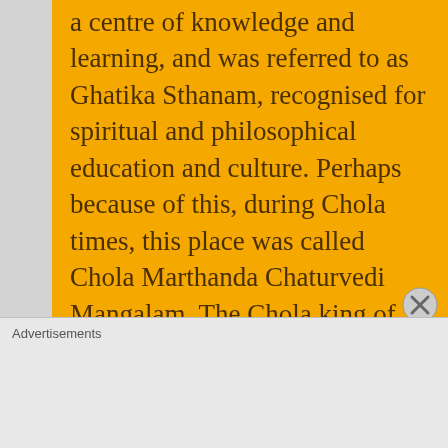a centre of knowledge and learning, and was referred to as Ghatika Sthanam, recognised for spiritual and philosophical education and culture. Perhaps because of this, during Chola times, this place was called Chola Marthanda Chaturvedi Mangalam. The Chola king of the time (unknown, but 10th-12th century) is also said to have given the adjoining village of Bhagavatapuram for use as residences, while continuing their academic pursuits at Veppathur, which attracted students and scholars from far and wide. For this reason, it is said that the place used to be called Vedamur, which
Advertisements